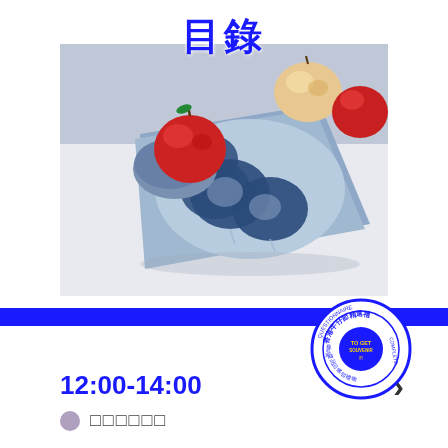目錄
[Figure (photo): A blue and white indigo-dyed cloth/handkerchief with leaf patterns laid flat on a white surface, with red and light apples placed on it and nearby]
[Figure (other): A circular blue stamp/seal with Chinese and English text reading '香港牛仔節精選禮' and 'TO GET SOUVENIR, COMPLETE QUESTIONNAIRE, 獎品回條領禮物']
12:00-14:00
□□□□□□